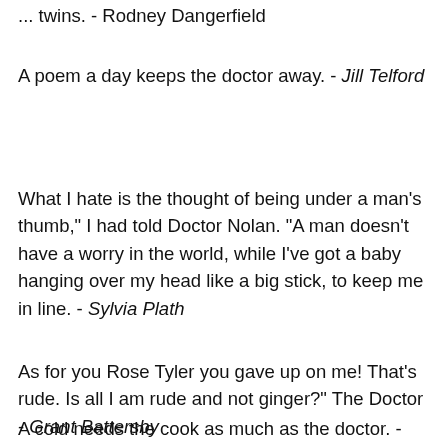... twins. - Rodney Dangerfield
A poem a day keeps the doctor away. - Jill Telford
What I hate is the thought of being under a man's thumb," I had told Doctor Nolan. "A man doesn't have a worry in the world, while I've got a baby hanging over my head like a big stick, to keep me in line. - Sylvia Plath
As for you Rose Tyler you gave up on me! That's rude. Is all I am rude and not ginger?" The Doctor - Grant Battersby
A cold needs the cook as much as the doctor. - Scottish Proverb